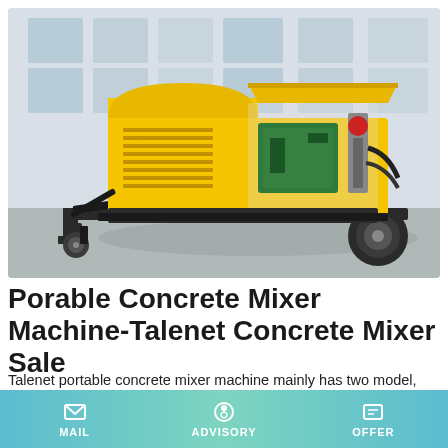[Figure (photo): Yellow portable concrete mixer/pump machine on a wheeled trailer, parked in an industrial warehouse. The machine has a large yellow metal housing with ventilation louvers, a green diesel engine visible inside, hydraulic components on the right side, and black metal frame with wheels and stabilizer legs.]
Porable Concrete Mixer Machine-Talenet Concrete Mixer Sale
Talenet portable concrete mixer machine mainly has two model, JZC350 and JZC500. JZC350 concrete mixer has 10-14m³/hr production capacity and JZC500 concrete mixer and
MAIL   ADVISORY   OFFER